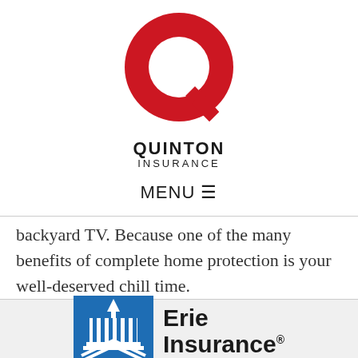[Figure (logo): Quinton Insurance logo: large red Q letter mark with white cutout and red arrow-like tail, with bold text 'QUINTON' and lighter text 'INSURANCE' below]
MENU ≡
backyard TV. Because one of the many benefits of complete home protection is your well-deserved chill time.
[Figure (logo): Erie Insurance logo: blue rectangle with white building/church steeple graphic on left, bold text 'Erie Insurance' with registered trademark symbol on right]